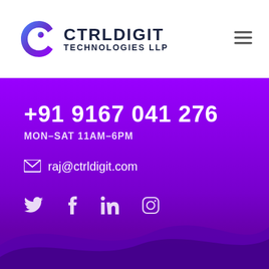[Figure (logo): CTRLDIGIT TECHNOLOGIES LLP logo with blue/purple spiral C icon and dark blue text]
+91 9167 041 276
MON–SAT 11AM–6PM
raj@ctrldigit.com
[Figure (illustration): Social media icons: Twitter, Facebook, LinkedIn, Instagram in white/light purple on purple background]